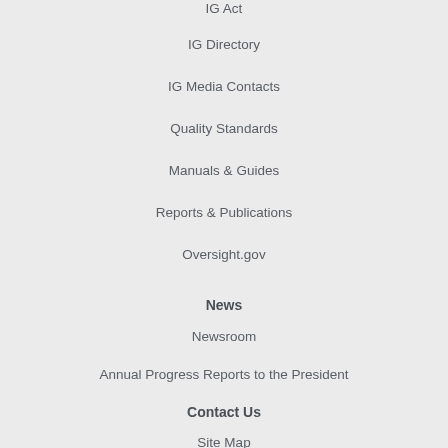IG Act
IG Directory
IG Media Contacts
Quality Standards
Manuals & Guides
Reports & Publications
Oversight.gov
News
Newsroom
Annual Progress Reports to the President
Contact Us
Site Map